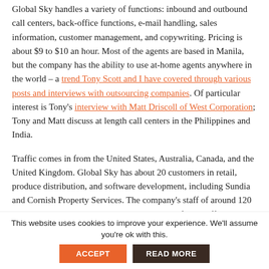Global Sky handles a variety of functions: inbound and outbound call centers, back-office functions, e-mail handling, sales information, customer management, and copywriting. Pricing is about $9 to $10 an hour. Most of the agents are based in Manila, but the company has the ability to use at-home agents anywhere in the world – a trend Tony Scott and I have covered through various posts and interviews with outsourcing companies. Of particular interest is Tony's interview with Matt Driscoll of West Corporation; Tony and Matt discuss at length call centers in the Philippines and India.
Traffic comes in from the United States, Australia, Canada, and the United Kingdom. Global Sky has about 20 customers in retail, produce distribution, and software development, including Sundia and Cornish Property Services. The company's staff of around 120 people handles about 300,000 minutes worth of call traffic a month.
The competition wasn't as strong as it is now when Stinson founded the company; there were 60 major call center companies in the Philippines at that time. One was Amber Gris solutions,
This website uses cookies to improve your experience. We'll assume you're ok with this.